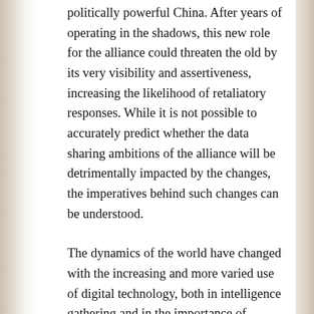politically powerful China. After years of operating in the shadows, this new role for the alliance could threaten the old by its very visibility and assertiveness, increasing the likelihood of retaliatory responses. While it is not possible to accurately predict whether the data sharing ambitions of the alliance will be detrimentally impacted by the changes, the imperatives behind such changes can be understood.
The dynamics of the world have changed with the increasing and more varied use of digital technology, both in intelligence gathering and in the importance of technology in economic growth. It can be argued that this new role on the part of the alliance, whether it be through expansion, coordinated domestic policies, or greater diplomatic pressure, is a recognition of the growing importance of digital...